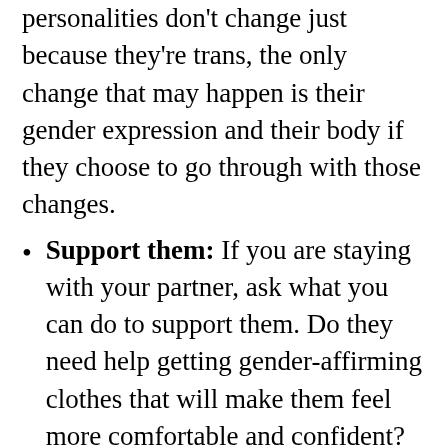personalities don't change just because they're trans, the only change that may happen is their gender expression and their body if they choose to go through with those changes.
Support them: If you are staying with your partner, ask what you can do to support them. Do they need help getting gender-affirming clothes that will make them feel more comfortable and confident? Also, make sure to support them emotionally and let them know that you are there for them.
Successful trans relationships —  can a trans person find love and